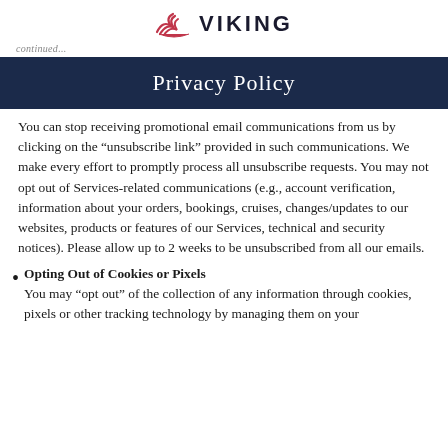VIKING
Privacy Policy
You can stop receiving promotional email communications from us by clicking on the “unsubscribe link” provided in such communications. We make every effort to promptly process all unsubscribe requests. You may not opt out of Services-related communications (e.g., account verification, information about your orders, bookings, cruises, changes/updates to our websites, products or features of our Services, technical and security notices). Please allow up to 2 weeks to be unsubscribed from all our emails.
Opting Out of Cookies or Pixels
You may “opt out” of the collection of any information through cookies, pixels or other tracking technology by managing them on your